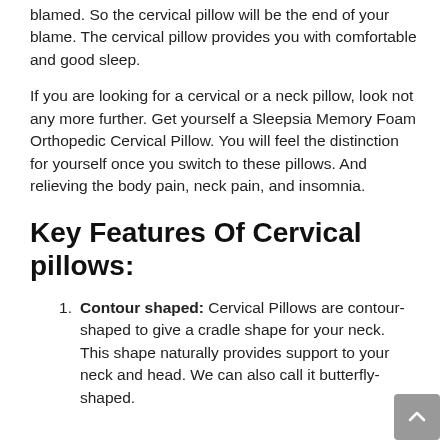blamed. So the cervical pillow will be the end of your blame. The cervical pillow provides you with comfortable and good sleep.
If you are looking for a cervical or a neck pillow, look not any more further. Get yourself a Sleepsia Memory Foam Orthopedic Cervical Pillow. You will feel the distinction for yourself once you switch to these pillows. And relieving the body pain, neck pain, and insomnia.
Key Features Of Cervical pillows:
Contour shaped: Cervical Pillows are contour-shaped to give a cradle shape for your neck. This shape naturally provides support to your neck and head. We can also call it butterfly-shaped.